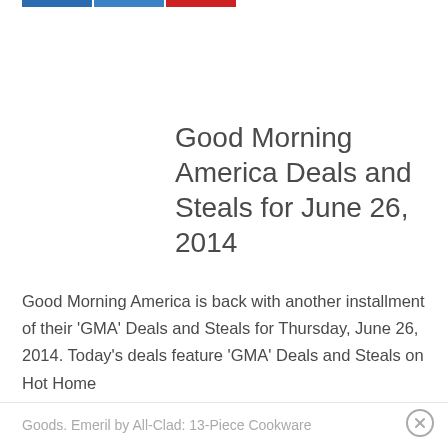Good Morning America Deals and Steals for June 26, 2014
Good Morning America is back with another installment of their ‘GMA’ Deals and Steals for Thursday, June 26, 2014. Today’s deals feature ‘GMA’ Deals and Steals on Hot Home Goods. Emeril by All-Clad: 13-Piece Cookware
Goods. Emeril by All-Clad: 13-Piece Cookware